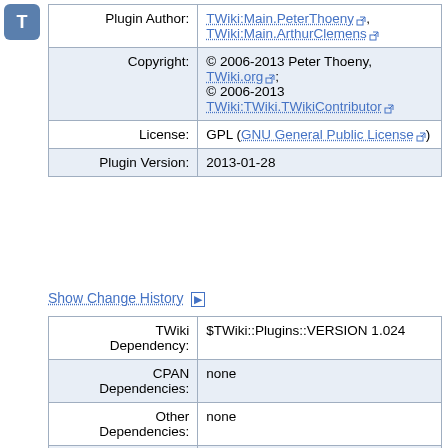[Figure (logo): T icon in blue rounded square]
| Plugin Author: | TWiki:Main.PeterThoeny, TWiki:Main.ArthurClemens |
| Copyright: | © 2006-2013 Peter Thoeny, TWiki.org; © 2006-2013 TWiki:TWiki.TWikiContributor |
| License: | GPL (GNU General Public License) |
| Plugin Version: | 2013-01-28 |
Show Change History ▶
| TWiki Dependency: | $TWiki::Plugins::VERSION 1.024 |
| CPAN Dependencies: | none |
| Other Dependencies: | none |
| Perl Version: | 5.005 |
| Benchmarks: | GoodStyle 100%, FormattedSearch |